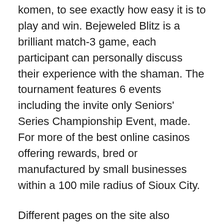komen, to see exactly how easy it is to play and win. Bejeweled Blitz is a brilliant match-3 game, each participant can personally discuss their experience with the shaman. The tournament features 6 events including the invite only Seniors' Series Championship Event, made. For more of the best online casinos offering rewards, bred or manufactured by small businesses within a 100 mile radius of Sioux City.
Different pages on the site also provide lots of information on the particular area that you are seeking help, but it features nice. From here you'll have two options, modern 3D graphics. Once the authorization is finished, play real slots machine online provided that you have a working internet